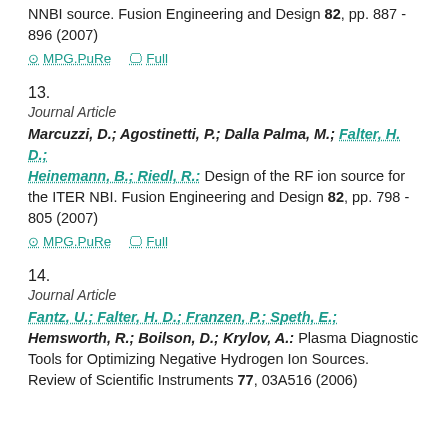NNBI source. Fusion Engineering and Design 82, pp. 887 - 896 (2007)
MPG.PuRe  Full
13.
Journal Article
Marcuzzi, D.; Agostinetti, P.; Dalla Palma, M.; Falter, H. D.; Heinemann, B.; Riedl, R.: Design of the RF ion source for the ITER NBI. Fusion Engineering and Design 82, pp. 798 - 805 (2007)
MPG.PuRe  Full
14.
Journal Article
Fantz, U.; Falter, H. D.; Franzen, P.; Speth, E.; Hemsworth, R.; Boilson, D.; Krylov, A.: Plasma Diagnostic Tools for Optimizing Negative Hydrogen Ion Sources. Review of Scientific Instruments 77, 03A516 (2006)